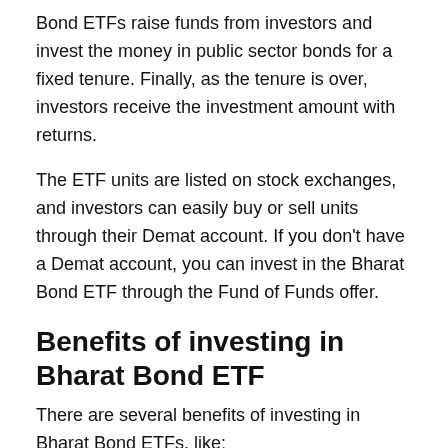Bond ETFs raise funds from investors and invest the money in public sector bonds for a fixed tenure. Finally, as the tenure is over, investors receive the investment amount with returns.
The ETF units are listed on stock exchanges, and investors can easily buy or sell units through their Demat account. If you don't have a Demat account, you can invest in the Bharat Bond ETF through the Fund of Funds offer.
Benefits of investing in Bharat Bond ETF
There are several benefits of investing in Bharat Bond ETFs, like: